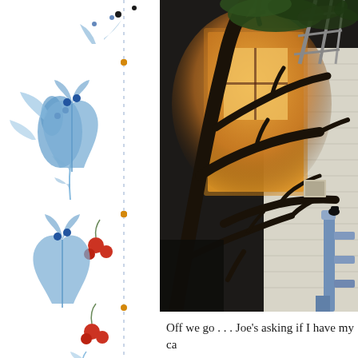[Figure (illustration): Decorative border with blue floral/botanical illustrations, small red berries, black dots, and orange/gold dots arranged vertically on white background, approximately 200px wide]
[Figure (photo): Outdoor evening photograph of a white clapboard house exterior with warm orange/yellow light glowing from a window, dark tree branches in the foreground forming an abstract tangle, green foliage at the top, a blue metal railing/post visible on the right side]
Off we go . . . Joe’s asking if I have my ca